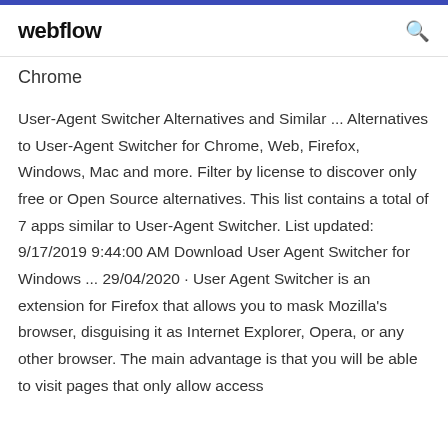webflow
Chrome
User-Agent Switcher Alternatives and Similar ... Alternatives to User-Agent Switcher for Chrome, Web, Firefox, Windows, Mac and more. Filter by license to discover only free or Open Source alternatives. This list contains a total of 7 apps similar to User-Agent Switcher. List updated: 9/17/2019 9:44:00 AM Download User Agent Switcher for Windows ... 29/04/2020 · User Agent Switcher is an extension for Firefox that allows you to mask Mozilla's browser, disguising it as Internet Explorer, Opera, or any other browser. The main advantage is that you will be able to visit pages that only allow access